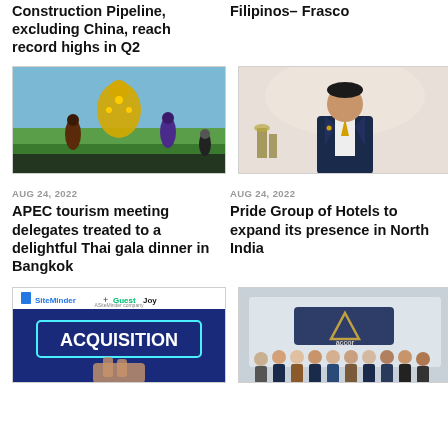Construction Pipeline, excluding China, reach record highs in Q2
Filipinos– Frasco
[Figure (photo): Thai performers in traditional costume on stage at APEC tourism gala dinner in Bangkok]
[Figure (photo): Man in dark suit standing in front of ornate background with gold trophies]
AUG 24, 2022
APEC tourism meeting delegates treated to a delightful Thai gala dinner in Bangkok
AUG 24, 2022
Pride Group of Hotels to expand its presence in North India
[Figure (photo): SiteMinder + GuestJoy ACQUISITION announcement graphic]
[Figure (photo): Group of business professionals standing in front of Accor logo]